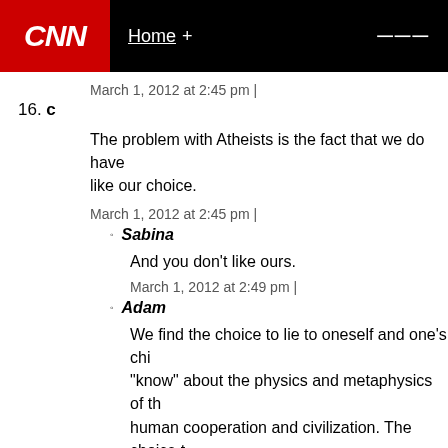CNN | Home +
March 1, 2012 at 2:45 pm |
16. c
The problem with Atheists is the fact that we do have like our choice.
March 1, 2012 at 2:45 pm |
Sabina
And you don't like ours.
March 1, 2012 at 2:49 pm |
Adam
We find the choice to lie to oneself and one's chi "know" about the physics and metaphysics of th human cooperation and civilization. The choice to also a choice. But that there can be two opinions suggest that one opinion is WRONG.